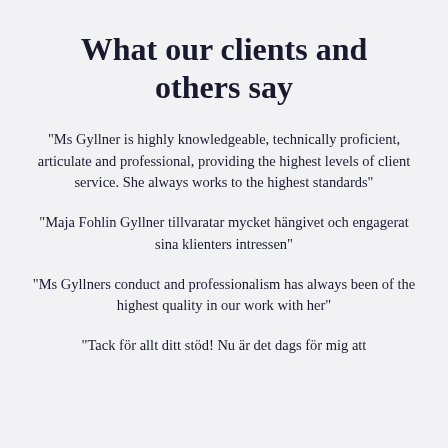What our clients and others say
“Ms Gyllner is highly knowledgeable, technically proficient, articulate and professional, providing the highest levels of client service. She always works to the highest standards”
“Maja Fohlin Gyllner tillvaratar mycket hängivet och engagerat sina klienters intressen”
“Ms Gyllners conduct and professionalism has always been of the highest quality in our work with her”
“Tack för allt ditt stöd! Nu är det dags för mig att